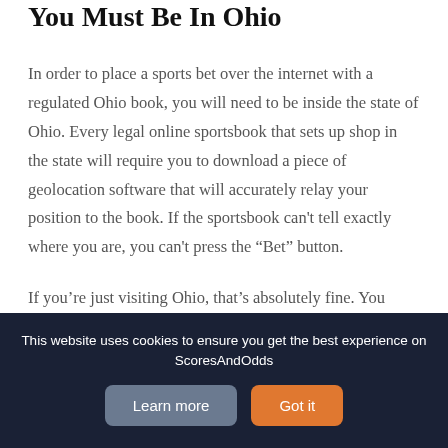You Must Be In Ohio
In order to place a sports bet over the internet with a regulated Ohio book, you will need to be inside the state of Ohio. Every legal online sportsbook that sets up shop in the state will require you to download a piece of geolocation software that will accurately relay your position to the book. If the sportsbook can't tell exactly where you are, you can't press the “Bet” button.
If you’re just visiting Ohio, that’s absolutely fine. You don’t need to live there, you just have to be inside the
This website uses cookies to ensure you get the best experience on ScoresAndOdds
Learn more
Got it